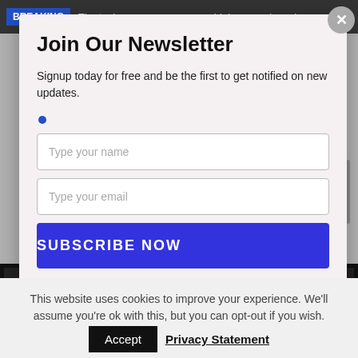BREAKING  The tech you use may cause higher premiums in
Join Our Newsletter
Signup today for free and be the first to get notified on new updates.
Type your name
Type your email
SUBSCRIBE NOW
This website uses cookies to improve your experience. We'll assume you're ok with this, but you can opt-out if you wish.
Accept  Privacy Statement